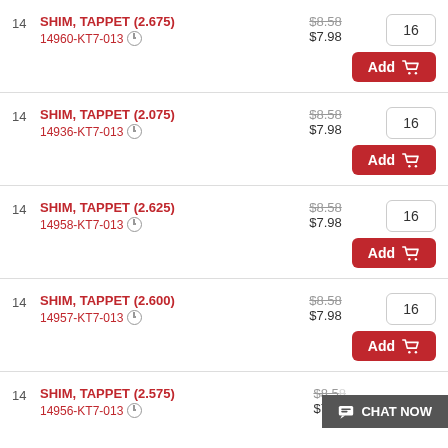14 SHIM, TAPPET (2.675) 14960-KT7-013 $8.58 $7.98 qty:16 Add
14 SHIM, TAPPET (2.075) 14936-KT7-013 $8.58 $7.98 qty:16 Add
14 SHIM, TAPPET (2.625) 14958-KT7-013 $8.58 $7.98 qty:16 Add
14 SHIM, TAPPET (2.600) 14957-KT7-013 $8.58 $7.98 qty:16 Add
14 SHIM, TAPPET (2.575) 14956-KT7-013 $8.58 $7.98